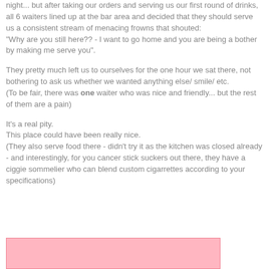night... but after taking our orders and serving us our first round of drinks, all 6 waiters lined up at the bar area and decided that they should serve us a consistent stream of menacing frowns that shouted:
"Why are you still here?? - I want to go home and you are being a bother by making me serve you".
They pretty much left us to ourselves for the one hour we sat there, not bothering to ask us whether we wanted anything else/ smile/ etc.
(To be fair, there was one waiter who was nice and friendly... but the rest of them are a pain)
It's a real pity.
This place could have been really nice.
(They also serve food there - didn't try it as the kitchen was closed already - and interestingly, for you cancer stick suckers out there, they have a ciggie sommelier who can blend custom cigarrettes according to your specifications)
[Figure (other): Pink/light-red rectangular box at the bottom of the page]